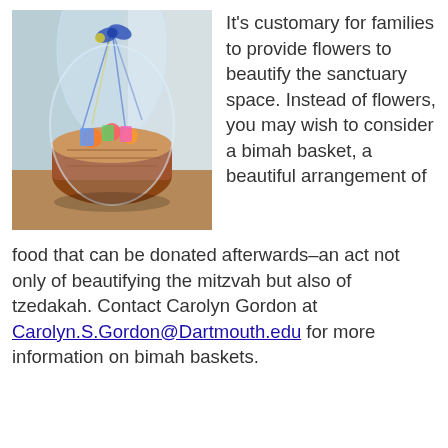[Figure (photo): A gift basket filled with food and snacks, wrapped in clear cellophane with a blue bow on top, sitting on a wooden floor with a blue and white background.]
It's customary for families to provide flowers to beautify the sanctuary space. Instead of flowers, you may wish to consider a bimah basket, a beautiful arrangement of food that can be donated afterwards–an act not only of beautifying the mitzvah but also of tzedakah. Contact Carolyn Gordon at Carolyn.S.Gordon@Dartmouth.edu for more information on bimah baskets.